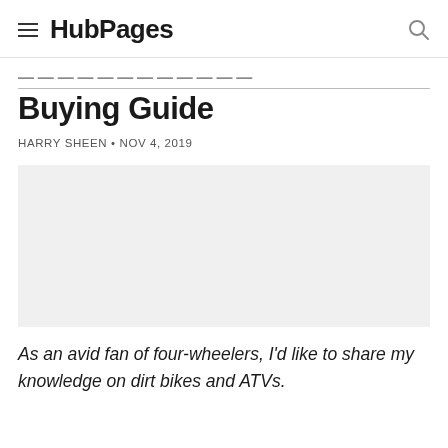HubPages
Buying Guide
HARRY SHEEN • NOV 4, 2019
[Figure (photo): Placeholder image area for article photo]
As an avid fan of four-wheelers, I'd like to share my knowledge on dirt bikes and ATVs.